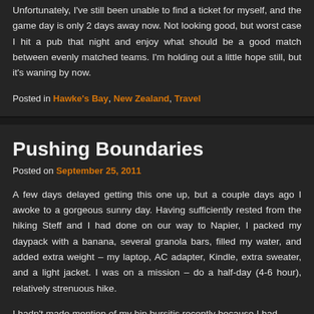Unfortunately, I've still been unable to find a ticket for myself, and the game day is only 2 days away now. Not looking good, but worst case I hit a pub that night and enjoy what should be a good match between evenly matched teams. I'm holding out a little hope still, but it's waning by now.
Posted in Hawke's Bay, New Zealand, Travel
Pushing Boundaries
Posted on September 25, 2011
A few days delayed getting this one up, but a couple days ago I awoke to a gorgeous sunny day. Having sufficiently rested from the hiking Steff and I had done on our way to Napier, I packed my daypack with a banana, several granola bars, filled my water, and added extra weight – my laptop, AC adapter, Kindle, extra sweater, and a light jacket. I was on a mission – do a half-day (4-6 hour), relatively strenuous hike.
I hadn't made mention of my hip bursitis recently because I had